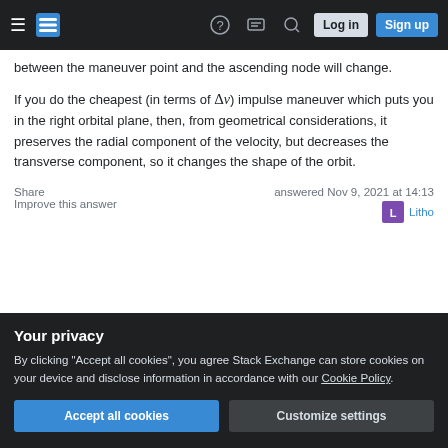Stack Exchange header with hamburger menu, logo, help, chat, search, Log in, Sign up
between the maneuver point and the ascending node will change.
If you do the cheapest (in terms of Δv) impulse maneuver which puts you in the right orbital plane, then, from geometrical considerations, it preserves the radial component of the velocity, but decreases the transverse component, so it changes the shape of the orbit.
Share   Improve this answer   answered Nov 9, 2021 at 14:13   Litho
Your privacy
By clicking "Accept all cookies", you agree Stack Exchange can store cookies on your device and disclose information in accordance with our Cookie Policy.
Accept all cookies   Customize settings